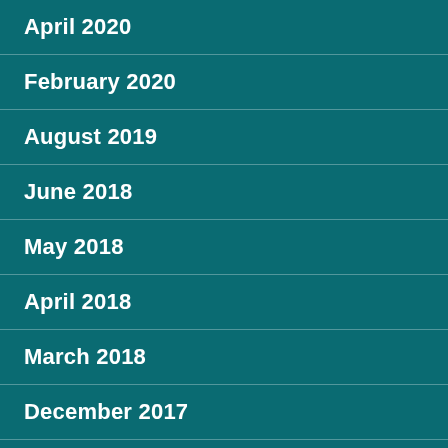April 2020
February 2020
August 2019
June 2018
May 2018
April 2018
March 2018
December 2017
November 2017